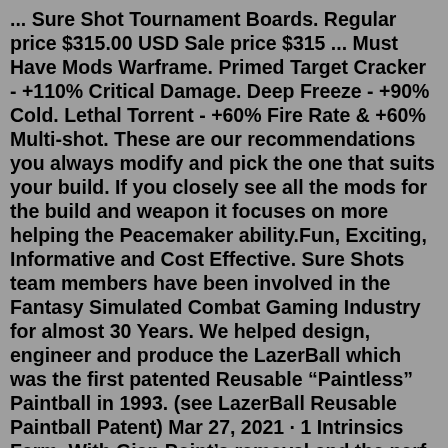... Sure Shot Tournament Boards. Regular price $315.00 USD Sale price $315 ... Must Have Mods Warframe. Primed Target Cracker - +110% Critical Damage. Deep Freeze - +90% Cold. Lethal Torrent - +60% Fire Rate & +60% Multi-shot. These are our recommendations you always modify and pick the one that suits your build. If you closely see all the mods for the build and weapon it focuses on more helping the Peacemaker ability.Fun, Exciting, Informative and Cost Effective. Sure Shots team members have been involved in the Fantasy Simulated Combat Gaming Industry for almost 30 Years. We helped design, engineer and produce the LazerBall which was the first patented Reusable “Paintless” Paintball in 1993. (see LazerBall Reusable Paintball Patent) Mar 27, 2021 · 1 Intrinsics Farm. With Gian Point’s removal and the nerf to R-9 Cloud, farming Intrinsics is rather limited currently. There are two main methods for farming Intrinsics: Complete Corpus Defense missions (the higher level, the better). Use Ivara to solo stealth farm Calabash, Veil Proxima.